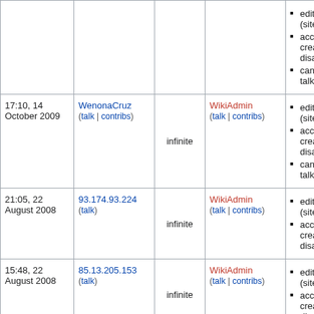| Date | User | Duration | Admin | Flags |  |
| --- | --- | --- | --- | --- | --- |
| 17:10, 14 October 2009 | WenonaCruz (talk | contribs) | infinite | WikiAdmin (talk | contribs) | editing (sitewide)
account creation disabled
cannot edit own talk page | s... |
| 21:05, 22 August 2008 | 93.174.93.224 (talk) | infinite | WikiAdmin (talk | contribs) | editing (sitewide)
account creation disabled | - |
| 15:48, 22 August 2008 | 85.13.205.153 (talk) | infinite | WikiAdmin (talk | contribs) | editing (sitewide)
account creation disabled | - |
| 15:48, 22 August 2008 | 195.188.174.182 (talk) | infinite | WikiAdmin (talk | contribs) | editing (sitewide)
account creation | - |